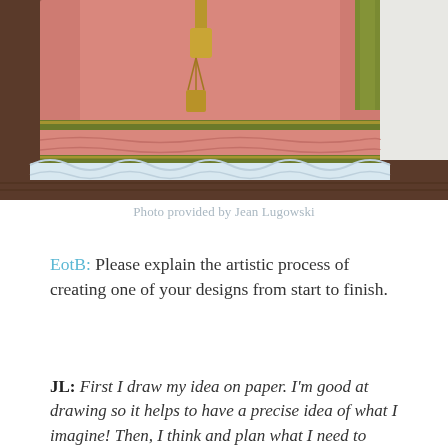[Figure (photo): Close-up photo of the lower portion of a pink historical costume dress with gold tassel, green trim with gold sequins, ruffled hem, and white lace underskirt, displayed on a wooden floor.]
Photo provided by Jean Lugowski
EotB: Please explain the artistic process of creating one of your designs from start to finish.
JL: First I draw my idea on paper. I'm good at drawing so it helps to have a precise idea of what I imagine! Then, I think and plan what I need to